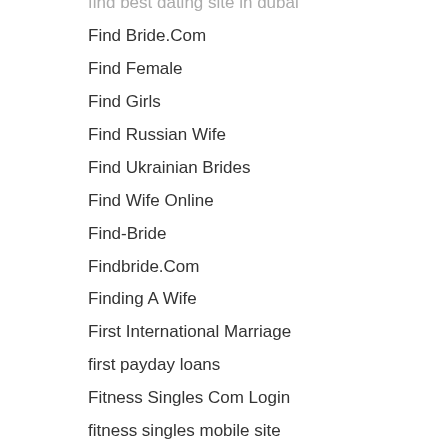find best dating site in dubai
Find Bride.Com
Find Female
Find Girls
Find Russian Wife
Find Ukrainian Brides
Find Wife Online
Find-Bride
Findbride.Com
Finding A Wife
First International Marriage
first payday loans
Fitness Singles Com Login
fitness singles mobile site
Fitness Singles Support
fitness singles test